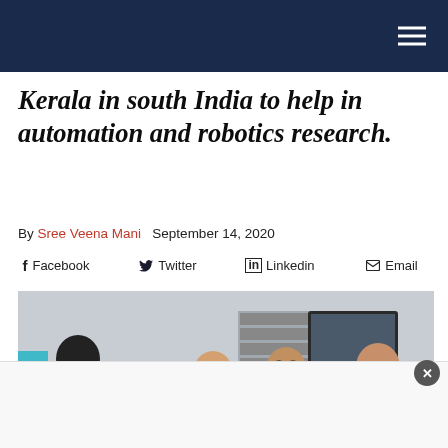Navigation bar with hamburger menu
Kerala in south India to help in automation and robotics research.
By Sree Veena Mani  September 14, 2020
Facebook  Twitter  Linkedin  Email
[Figure (photo): Group of people sitting around a large round table working on laptops and electronics components in a collaborative workspace or lab setting.]